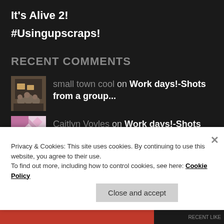It's Alive 2!
#Usingupscraps!
RECENT COMMENTS
small town cool on Work days!-Shots from a group...
Caitlyn Voyles on Work days!-Shots from a group...
! – Small Town... on New Kids on the
Privacy & Cookies: This site uses cookies. By continuing to use this website, you agree to their use. To find out more, including how to control cookies, see here: Cookie Policy
Close and accept